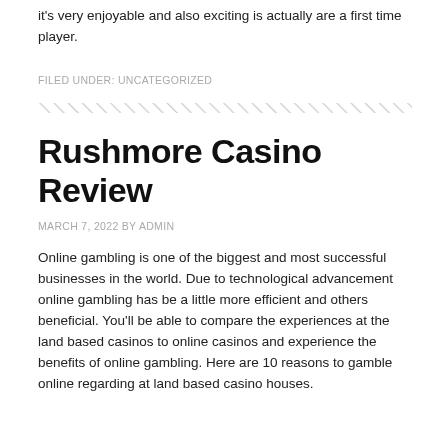it's very enjoyable and also exciting is actually are a first time player.
FILED UNDER: UNCATEGORIZED
Rushmore Casino Review
MARCH 7, 2022 BY ADMIN
Online gambling is one of the biggest and most successful businesses in the world. Due to technological advancement online gambling has be a little more efficient and others beneficial. You'll be able to compare the experiences at the land based casinos to online casinos and experience the benefits of online gambling. Here are 10 reasons to gamble online regarding at land based casino houses.